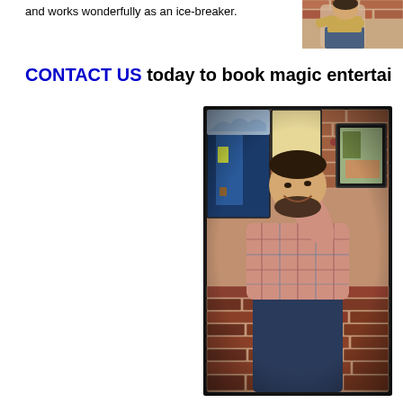and works wonderfully as an ice-breaker.
[Figure (photo): Partial photo of a person in jeans against a brick wall, cropped at top right corner of page]
CONTACT US today to book magic entertai…
[Figure (photo): Man in plaid shirt smiling and holding up a playing card in front of a brick wall with stained glass artwork panels]